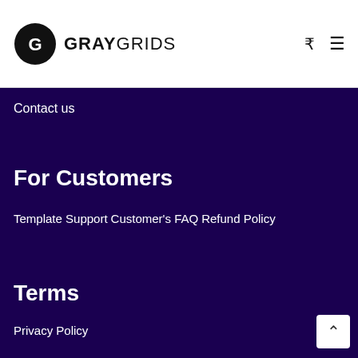GRAYGRIDS
Contact us
For Customers
Template Support
Customer's FAQ
Refund Policy
Terms
Privacy Policy